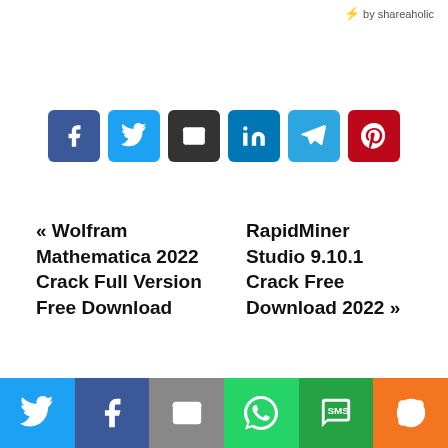⚡ by shareaholic
[Figure (other): Social share buttons: Facebook, Twitter, Email, LinkedIn, Telegram, Pinterest]
« Wolfram Mathematica 2022 Crack Full Version Free Download
RapidMiner Studio 9.10.1 Crack Free Download 2022 »
By admin
[Figure (other): Bottom share bar with Twitter, Facebook, Email, WhatsApp, SMS, More buttons]